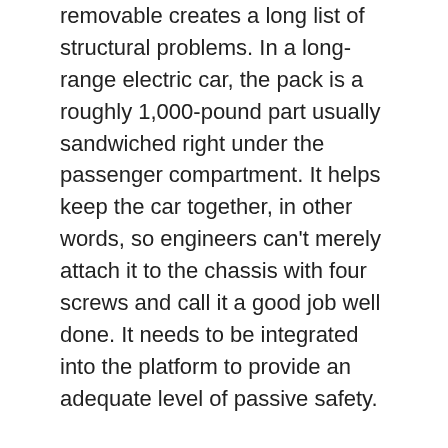removable creates a long list of structural problems. In a long-range electric car, the pack is a roughly 1,000-pound part usually sandwiched right under the passenger compartment. It helps keep the car together, in other words, so engineers can't merely attach it to the chassis with four screws and call it a good job well done. It needs to be integrated into the platform to provide an adequate level of passive safety.
“It’s like windows. In the old days, we embedded a windshield in a rubber part. Nowadays, a windshield is glued in and it helps support the whole structure. The